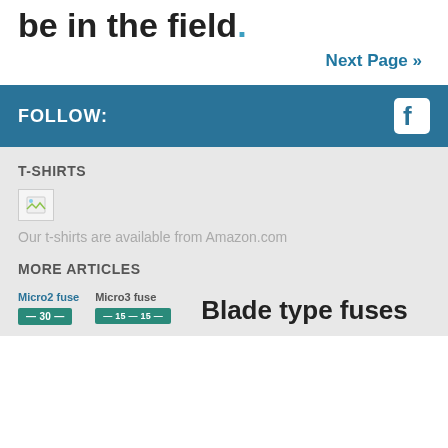be in the field.
Next Page »
FOLLOW:
T-SHIRTS
[Figure (photo): Small broken image placeholder icon]
Our t-shirts are available from Amazon.com
MORE ARTICLES
Micro2 fuse
Micro3 fuse
Blade type fuses